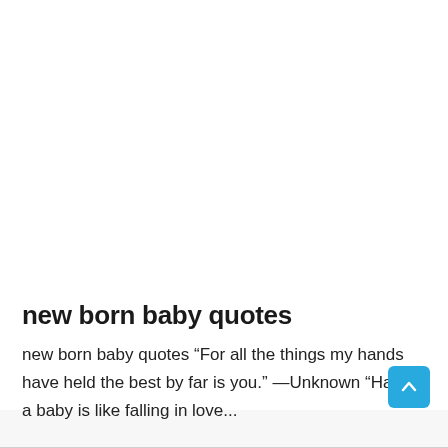new born baby quotes
new born baby quotes “For all the things my hands have held the best by far is you.” —Unknown “Having a baby is like falling in love...